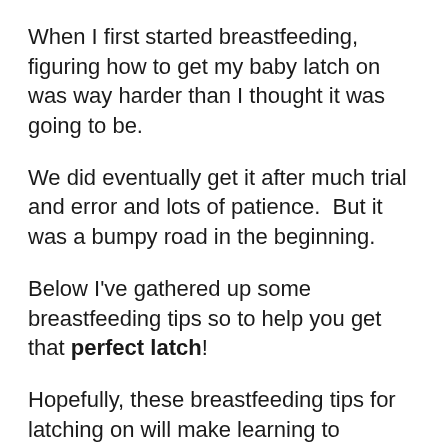When I first started breastfeeding, figuring how to get my baby latch on was way harder than I thought it was going to be.
We did eventually get it after much trial and error and lots of patience.  But it was a bumpy road in the beginning.
Below I've gathered up some breastfeeding tips so to help you get that perfect latch!
Hopefully, these breastfeeding tips for latching on will make learning to breastfeed much easier for both you and your baby!